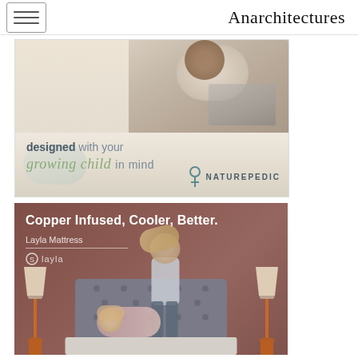Anarchitectures
[Figure (photo): Naturepedic advertisement showing a young person on a bed with a laptop, white bedding. Text overlay reads 'designed with your growing child in mind' with NATUREPEDIC branding and logo.]
[Figure (photo): Layla Mattress advertisement with brown/terracotta background showing a woman standing on a bed and a child lying on the bed. Two lamps visible. Text reads 'Copper Infused, Cooler, Better.' with 'Layla Mattress' subtitle and Layla logo.]